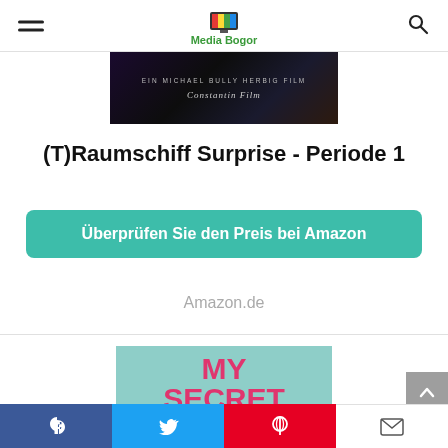Media Bogor
[Figure (photo): Dark movie banner showing 'Ein Michael Bully Herbig Film' and 'Constantin Film' logo]
(T)Raumschiff Surprise - Periode 1
Überprüfen Sie den Preis bei Amazon
Amazon.de
[Figure (photo): Book cover for 'My Secret Sister' with teal background and pink text]
Facebook | Twitter | Pinterest | Email social share bar